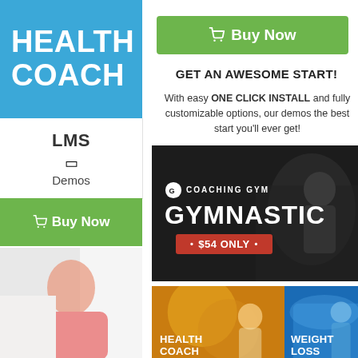HEALTH COACH
LMS
Demos
Buy Now
[Figure (screenshot): Person in pink shirt on white couch - left side partial view]
Buy Now
GET AN AWESOME START!
With easy ONE CLICK INSTALL and fully customizable options, our demos the best start you'll ever get!
[Figure (screenshot): Coaching Gym banner showing GYMNASTIC with $54 ONLY price badge on dark gym background]
[Figure (screenshot): Health Coach thumbnail with woman holding apple on orange background]
[Figure (screenshot): Weight Loss thumbnail with woman in blue sports wear on blue background]